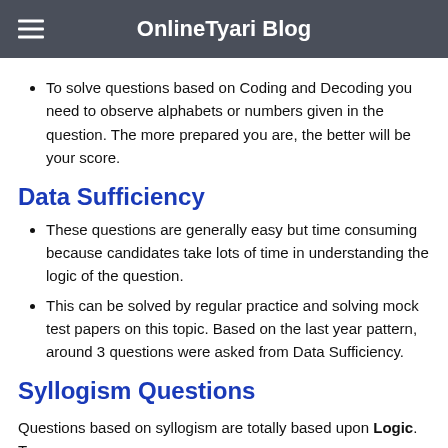OnlineTyari Blog
To solve questions based on Coding and Decoding you need to observe alphabets or numbers given in the question. The more prepared you are, the better will be your score.
Data Sufficiency
These questions are generally easy but time consuming because candidates take lots of time in understanding the logic of the question.
This can be solved by regular practice and solving mock test papers on this topic. Based on the last year pattern, around 3 questions were asked from Data Sufficiency.
Syllogism Questions
Questions based on syllogism are totally based upon Logic. To